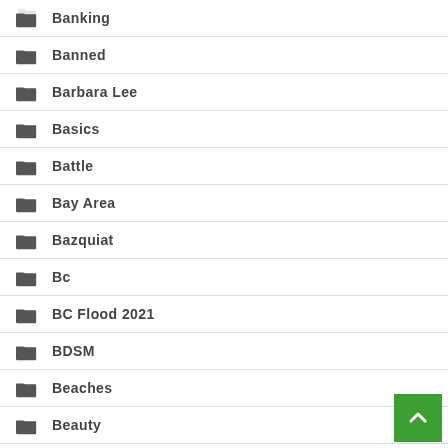Banking
Banned
Barbara Lee
Basics
Battle
Bay Area
Bazquiat
Bc
BC Flood 2021
BDSM
Beaches
Beauty
Beauty Routine